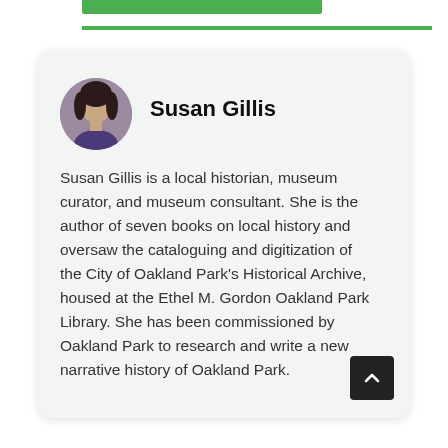[Figure (photo): Circular avatar photo of Susan Gillis, a woman with dark hair]
Susan Gillis
Susan Gillis is a local historian, museum curator, and museum consultant. She is the author of seven books on local history and oversaw the cataloguing and digitization of the City of Oakland Park's Historical Archive, housed at the Ethel M. Gordon Oakland Park Library. She has been commissioned by Oakland Park to research and write a new narrative history of Oakland Park.